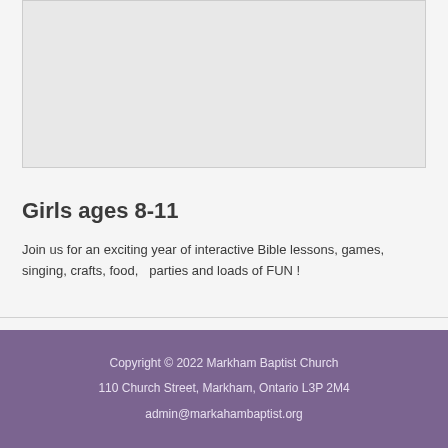[Figure (map): A gray map area placeholder]
Girls ages 8-11
Join us for an exciting year of interactive Bible lessons, games, singing, crafts, food,   parties and loads of FUN !
Copyright © 2022 Markham Baptist Church
110 Church Street, Markham, Ontario L3P 2M4
admin@markahambaptist.org